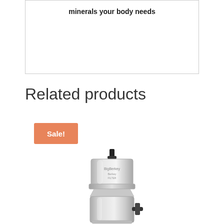minerals your body needs
Related products
Sale!
[Figure (photo): Stainless steel gravity water filter/purifier with cylindrical body, spigot, and knob on top]